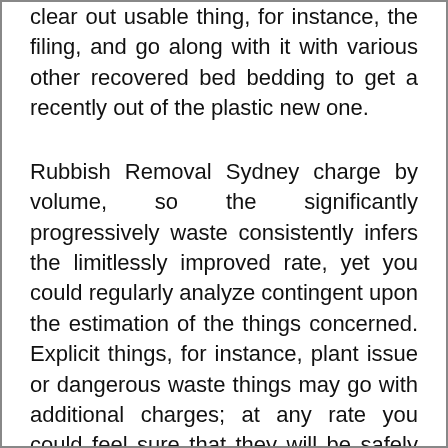clear out usable thing, for instance, the filing, and go along with it with various other recovered bed bedding to get a recently out of the plastic new one.
Rubbish Removal Sydney charge by volume, so the significantly progressively waste consistently infers the limitlessly improved rate, yet you could regularly analyze contingent upon the estimation of the things concerned. Explicit things, for instance, plant issue or dangerous waste things may go with additional charges; at any rate you could feel sure that they will be safely masterminded. In greater urban networks, there are once in a while a couple of firms so you have the decision of taking a gander at the most flawlessly awesome expense. If you expect its possibly is. Do whatever it takes not to lose time similarly as rubbish by throwing your tragic